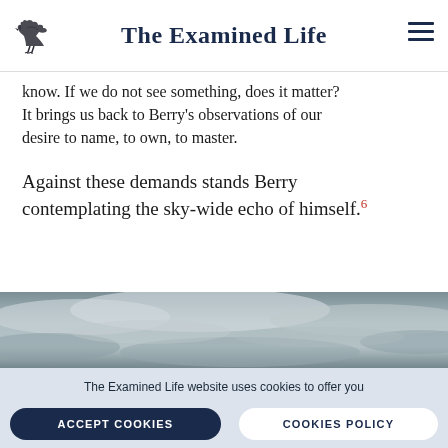The Examined Life
know. If we do not see something, does it matter? It brings us back to Berry's observations of our desire to name, to own, to master.
Against these demands stands Berry contemplating the sky-wide echo of himself.6
[Figure (photo): Cloudy grey sky photograph]
The Examined Life website uses cookies to offer you the best experience. You can find out more about which cookies are used on the Privacy Policy page.
ACCEPT COOKIES    COOKIES POLICY